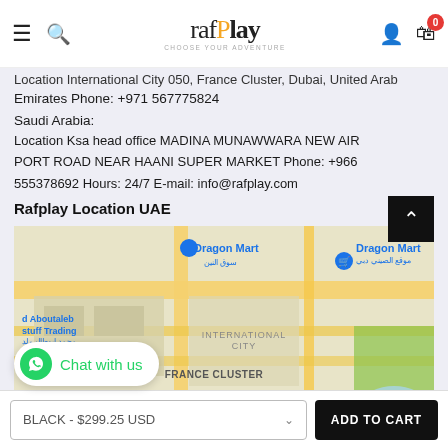raf Play - CHOOSE YOUR ADVENTURE
Location International City 050, France Cluster, Dubai, United Arab Emirates Phone: +971 567775824
Saudi Arabia:
Location Ksa head office MADINA MUNAWWARA NEW AIR PORT ROAD NEAR HAANI SUPER MARKET Phone: +966 555378692 Hours: 24/7 E-mail: info@rafplay.com
Rafplay Location UAE
[Figure (map): Google Maps showing Dragon Mart area, International City, France Cluster, Dubai, UAE. Location pins visible for Dragon Mart and nearby landmarks.]
Chat with us
BLACK - $299.25 USD  ADD TO CART